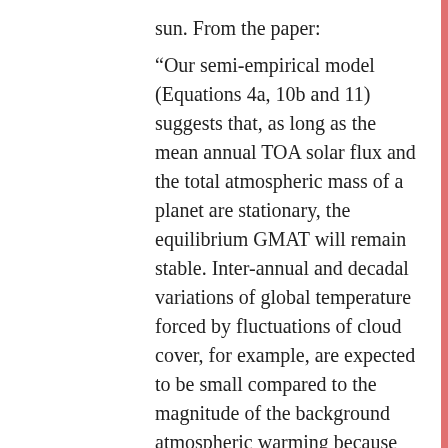sun. From the paper:
“Our semi-empirical model (Equations 4a, 10b and 11) suggests that, as long as the mean annual TOA solar flux and the total atmospheric mass of a planet are stationary, the equilibrium GMAT will remain stable. Inter-annual and decadal variations of global temperature forced by fluctuations of cloud cover, for example, are expected to be small compared to the magnitude of the background atmospheric warming because of strong negative feedbacks limiting the albedo changes. This implies a relatively stable climate for a planet such as Earth absent significant shifts in